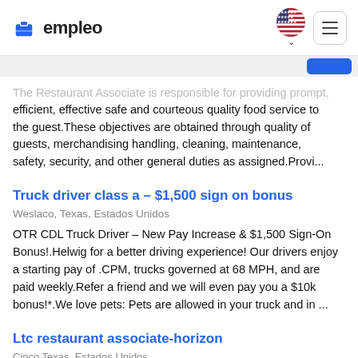empleo
The Restaurant Associate is responsible for providing prompt, efficient, effective safe and courteous quality food service to the guest.These objectives are obtained through quality of guests, merchandising handling, cleaning, maintenance, safety, security, and other general duties as assigned.Provi...
Truck driver class a – $1,500 sign on bonus
Weslaco, Texas, Estados Unidos
OTR CDL Truck Driver – New Pay Increase & $1,500 Sign-On Bonus!.Helwig for a better driving experience! Our drivers enjoy a starting pay of .CPM, trucks governed at 68 MPH, and are paid weekly.Refer a friend and we will even pay you a $10k bonus!*.We love pets: Pets are allowed in your truck and in ...
Ltc restaurant associate-horizon
Cinco Texas, Estados Unidos